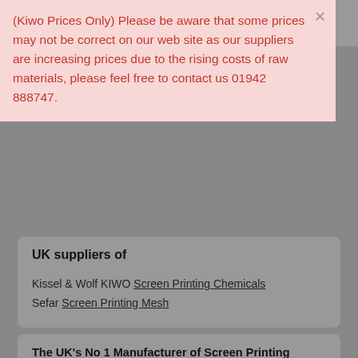WE SUPPLY ONLY THE CORRECT PRODUCTS FOR OUR CUSTOMERS NEEDS. PLEASE CONTACT US FOR FURTHER
(Kiwo Prices Only) Please be aware that some prices may not be correct on our web site as our suppliers are increasing prices due to the rising costs of raw materials, please feel free to contact us 01942 888747.
UK suppliers of
Kissel & Wolf KIWO Screen Printing Chemicals
Sefar Screen Printing Mesh
The UK's No 1 Manufacturer of Screen Printing Supplies.
Frame Recovering Service
24 Hour Delivery Nationwide!!
We also ship to Ireland and all European countries.
Contact us TODAY